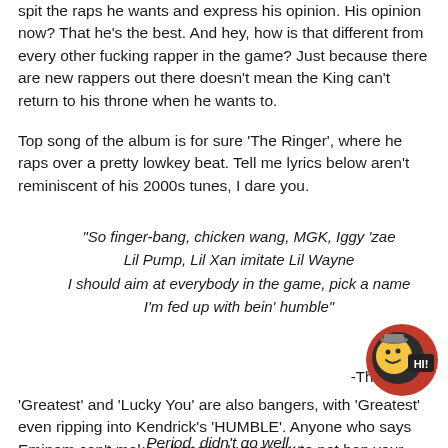spit the raps he wants and express his opinion. His opinion now? That he's the best. And hey, how is that different from every other fucking rapper in the game? Just because there are new rappers out there doesn't mean the King can't return to his throne when he wants to.
Top song of the album is for sure 'The Ringer', where he raps over a pretty lowkey beat. Tell me lyrics below aren't reminiscent of his 2000s tunes, I dare you.
"So finger-bang, chicken wang, MGK, Iggy 'zae
Lil Pump, Lil Xan imitate Lil Wayne
I should aim at everybody in the game, pick a name
I'm fed up with bein' humble"
-The Ringer
'Greatest' and 'Lucky You' are also bangers, with 'Greatest' even ripping into Kendrick's 'HUMBLE'. Anyone who says Eminem can't make a banger, I urge you to not bop your head along to the tracks on this album. The inclusion of skits is also true Eminem style that always adds to the whole project.
Period, didn't go well...